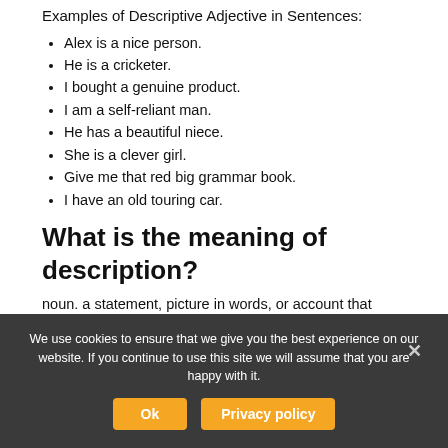Examples of Descriptive Adjective in Sentences:
Alex is a nice person.
He is a cricketer.
I bought a genuine product.
I am a self-reliant man.
He has a beautiful niece.
She is a clever girl.
Give me that red big grammar book.
I have an old touring car.
What is the meaning of description?
noun. a statement, picture in words, or account that
We use cookies to ensure that we give you the best experience on our website. If you continue to use this site we will assume that you are happy with it.